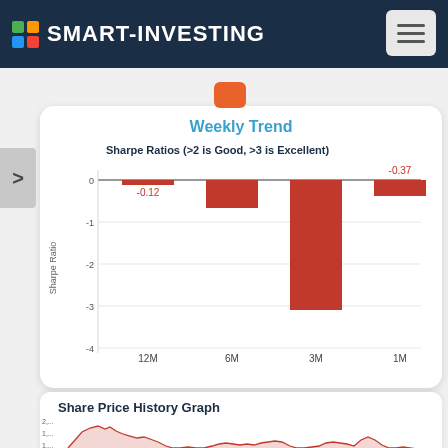SMART-INVESTING
Weekly Trend
[Figure (bar-chart): Sharpe Ratios (>2 is Good, >3 is Excellent)]
Share Price History Graph
[Figure (area-chart): Area chart showing share price history over time, with values ranging from approximately 1,000 to 2,000+ Rs. The chart shows a peak early on followed by a general decline with some fluctuations.]